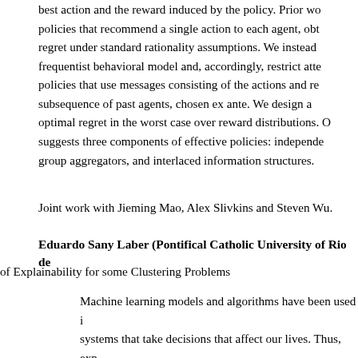best action and the reward induced by the policy. Prior wo policies that recommend a single action to each agent, obt regret under standard rationality assumptions. We instead frequentist behavioral model and, accordingly, restrict atte policies that use messages consisting of the actions and re subsequence of past agents, chosen ex ante. We design a optimal regret in the worst case over reward distributions. suggests three components of effective policies: independe group aggregators, and interlaced information structures.
Joint work with Jieming Mao, Alex Slivkins and Steven Wu.
Eduardo Sany Laber (Pontifical Catholic University of Rio de
of Explainability for some Clustering Problems
Machine learning models and algorithms have been used i systems that take decisions that affect our lives. Thus, exp are desirable so that people are able to have a better unde their behaviour. However, we may be forced to lose quality in order to achieve explainability. In this talk we investigate perspective, the price of explainability for some clustering p